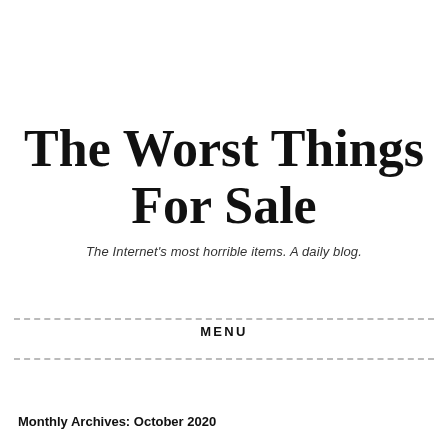The Worst Things For Sale
The Internet's most horrible items. A daily blog.
MENU
Monthly Archives: October 2020